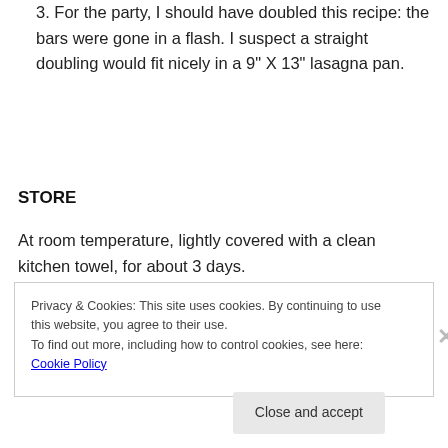3. For the party, I should have doubled this recipe: the bars were gone in a flash. I suspect a straight doubling would fit nicely in a 9" X 13" lasagna pan.
STORE
At room temperature, lightly covered with a clean kitchen towel, for about 3 days.
Privacy & Cookies: This site uses cookies. By continuing to use this website, you agree to their use.
To find out more, including how to control cookies, see here: Cookie Policy
Close and accept